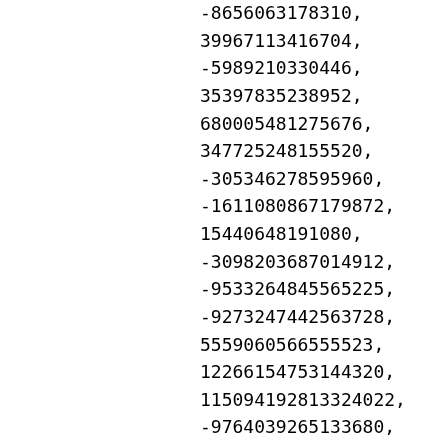-8656063178310,
39967113416704,
-5989210330446,
35397835238952,
680005481275676,
347725248155520,
-305346278595960,
-1611080867179872,
15440648191080,
-3098203687014912,
-9533264845565225,
-9273247442563728,
5559060566555523,
12266154753144320,
115094192813324022,
-9764039265133680,
-9082972450110800,
191795048280391680,
-25301253756942622​8,
-6755829252743088,